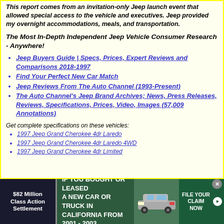This report comes from an invitation-only Jeep launch event that allowed special access to the vehicle and executives. Jeep provided my overnight accommodations, meals, and transportation.
The Most In-Depth Independent Jeep Vehicle Consumer Research - Anywhere!
Jeep Buyers Guide | Specs, Prices, Expert Reviews and Comparisons 2018-1997
Find Your Perfect New Car Match
Jeep Reviews From The Auto Channel (1993-Present)
The Auto Channel's Jeep Brand Archives; News, Press Releases, Reviews, Specifications, Prices, Video, Images (57,009 Annotations)
Get complete specifications on these vehicles:
1997 Jeep Grand Cherokee 4dr Laredo
1997 Jeep Grand Cherokee 4dr Laredo 4WD
1997 Jeep Grand Cherokee 4dr Limited
[Figure (infographic): Advertisement banner: $82 Million Class Action Settlement - IF YOU BOUGHT OR LEASED A NEW CAR OR TRUCK IN CALIFORNIA FROM 2001 - 2003 - FILE YOUR CLAIM NOW]